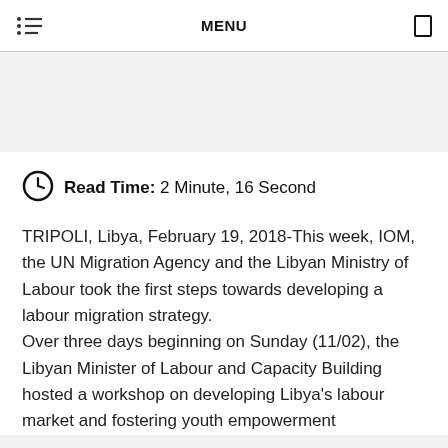MENU
Read Time: 2 Minute, 16 Second
TRIPOLI, Libya, February 19, 2018-This week, IOM, the UN Migration Agency and the Libyan Ministry of Labour took the first steps towards developing a labour migration strategy. Over three days beginning on Sunday (11/02), the Libyan Minister of Labour and Capacity Building hosted a workshop on developing Libya's labour market and fostering youth empowerment